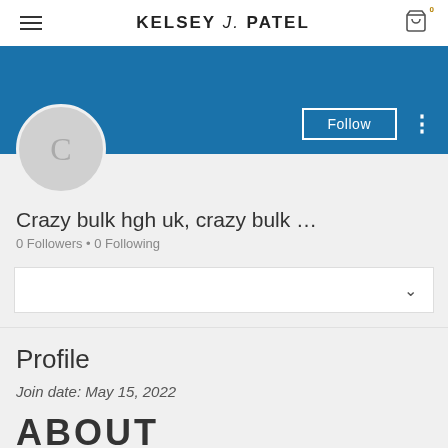KELSEY J. PATEL
[Figure (screenshot): User profile page for 'Crazy bulk hgh uk, crazy bulk ...' on Kelsey J. Patel website, showing blue banner, avatar placeholder with letter C, Follow button, 0 Followers, 0 Following, Profile section with join date May 15 2022, and ABOUT heading]
Crazy bulk hgh uk, crazy bulk ...
0 Followers • 0 Following
Profile
Join date: May 15, 2022
ABOUT